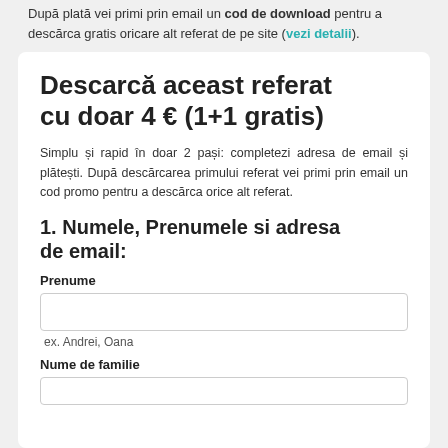După plată vei primi prin email un cod de download pentru a descărca gratis oricare alt referat de pe site (vezi detalii).
Descarcă aceast referat cu doar 4 € (1+1 gratis)
Simplu și rapid în doar 2 pași: completezi adresa de email și plătești. După descărcarea primului referat vei primi prin email un cod promo pentru a descărca orice alt referat.
1. Numele, Prenumele si adresa de email:
Prenume
ex. Andrei, Oana
Nume de familie